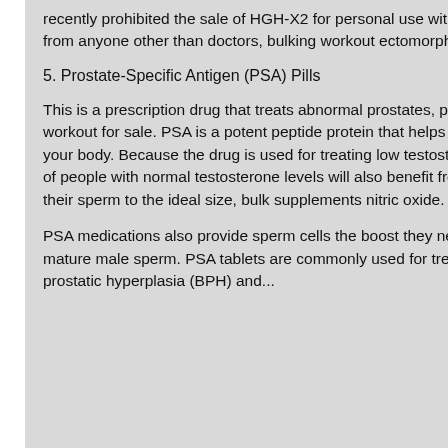recently prohibited the sale of HGH-X2 for personal use without a prescription from anyone other than doctors, bulking workout ectomorph.
5. Prostate-Specific Antigen (PSA) Pills
This is a prescription drug that treats abnormal prostates, preseries bulk pre-workout for sale. PSA is a potent peptide protein that helps to make sperm in your body. Because the drug is used for treating low testosterone levels, a lot of people with normal testosterone levels will also benefit from it to help boost their sperm to the ideal size, bulk supplements nitric oxide.
PSA medications also provide sperm cells the boost they need to become mature male sperm. PSA tablets are commonly used for treating benign prostatic hyperplasia (BPH) and...
[Figure (photo): Dark background with black glossy bubbles/spheres of various sizes floating against a dark background, visible on the right side of the page.]